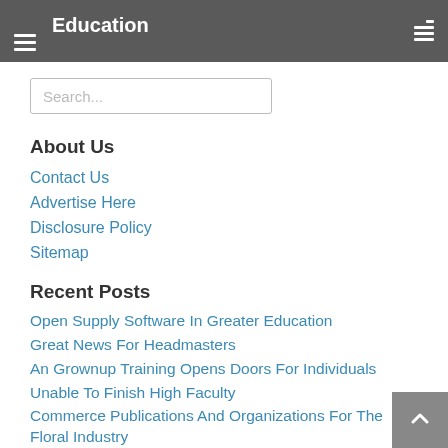Education
Search...
About Us
Contact Us
Advertise Here
Disclosure Policy
Sitemap
Recent Posts
Open Supply Software In Greater Education
Great News For Headmasters
An Grownup Training Opens Doors For Individuals
Unable To Finish High Faculty
Commerce Publications And Organizations For The Floral Industry
Online CEU Programs